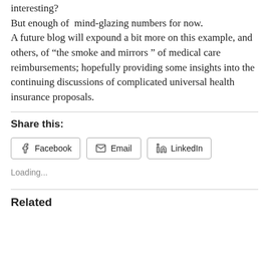interesting?
But enough of  mind-glazing numbers for now.
A future blog will expound a bit more on this example, and others, of “the smoke and mirrors ” of medical care reimbursements; hopefully providing some insights into the continuing discussions of complicated universal health insurance proposals.
Share this:
Facebook  Email  LinkedIn
Loading...
Related